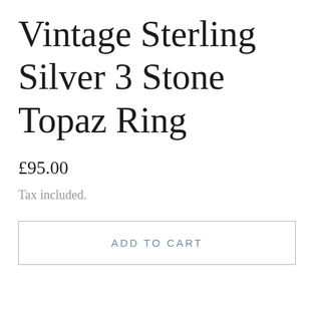Vintage Sterling Silver 3 Stone Topaz Ring
£95.00
Tax included.
ADD TO CART